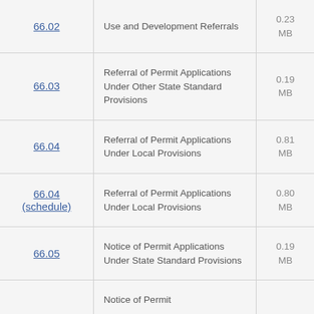| ID | Description | Size |
| --- | --- | --- |
| 66.02 | Use and Development Referrals | 0.23 MB |
| 66.03 | Referral of Permit Applications Under Other State Standard Provisions | 0.19 MB |
| 66.04 | Referral of Permit Applications Under Local Provisions | 0.81 MB |
| 66.04 (schedule) | Referral of Permit Applications Under Local Provisions | 0.80 MB |
| 66.05 | Notice of Permit Applications Under State Standard Provisions | 0.19 MB |
|  | Notice of Permit |  |